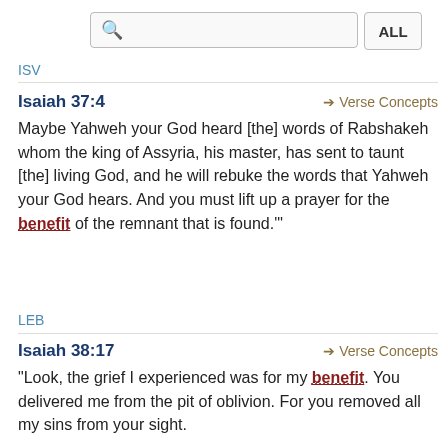ISV
Isaiah 37:4 → Verse Concepts
Maybe Yahweh your God heard [the] words of Rabshakeh whom the king of Assyria, his master, has sent to taunt [the] living God, and he will rebuke the words that Yahweh your God hears. And you must lift up a prayer for the benefit of the remnant that is found.'"
LEB
Isaiah 38:17 → Verse Concepts
"Look, the grief I experienced was for my benefit. You delivered me from the pit of oblivion. For you removed all my sins from your sight.
NET
Isaiah 47:10 → Verse Concepts